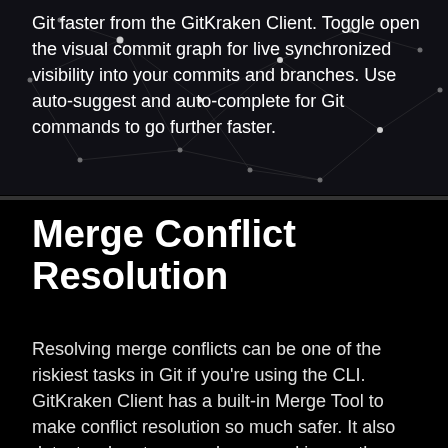[Figure (illustration): Dark background with glowing network/neural node pattern — interconnected dots and lines on a dark grey/black background]
Git faster from the GitKraken Client. Toggle open the visual commit graph for live synchronized visibility into your commits and branches. Use auto-suggest and auto-complete for Git commands to go further faster.
Merge Conflict Resolution
Resolving merge conflicts can be one of the riskiest tasks in Git if you're using the CLI. GitKraken Client has a built-in Merge Tool to make conflict resolution so much safer. It also detects when two people are working on the same file and alerts you of potential conflicts…